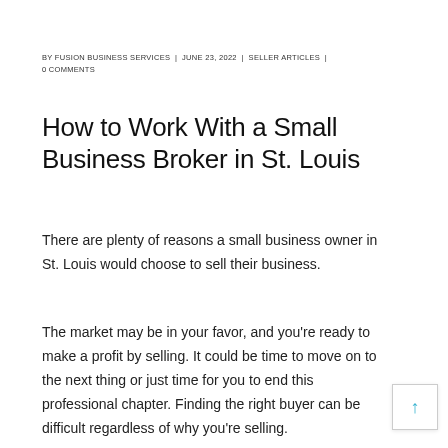BY FUSION BUSINESS SERVICES | JUNE 23, 2022 | SELLER ARTICLES | 0 COMMENTS
How to Work With a Small Business Broker in St. Louis
There are plenty of reasons a small business owner in St. Louis would choose to sell their business.
The market may be in your favor, and you’re ready to make a profit by selling. It could be time to move on to the next thing or just time for you to end this professional chapter. Finding the right buyer can be difficult regardless of why you’re selling.